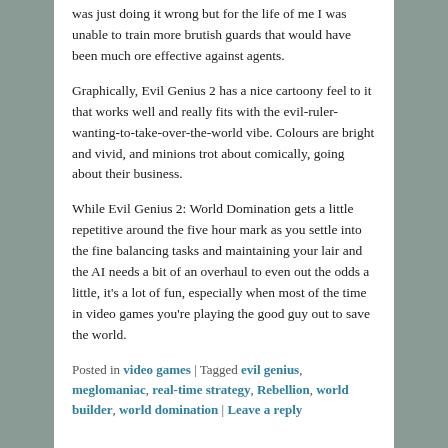was just doing it wrong but for the life of me I was unable to train more brutish guards that would have been much ore effective against agents.
Graphically, Evil Genius 2 has a nice cartoony feel to it that works well and really fits with the evil-ruler-wanting-to-take-over-the-world vibe. Colours are bright and vivid, and minions trot about comically, going about their business.
While Evil Genius 2: World Domination gets a little repetitive around the five hour mark as you settle into the fine balancing tasks and maintaining your lair and the AI needs a bit of an overhaul to even out the odds a little, it's a lot of fun, especially when most of the time in video games you're playing the good guy out to save the world.
Posted in video games | Tagged evil genius, meglomaniac, real-time strategy, Rebellion, world builder, world domination | Leave a reply